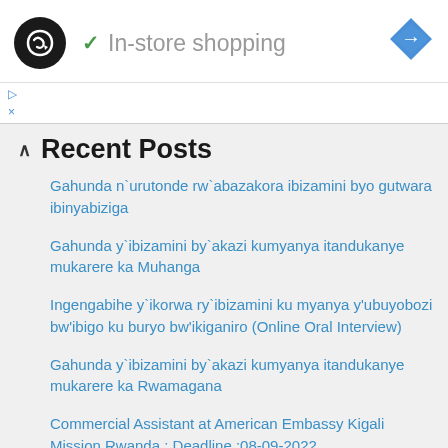[Figure (logo): Black circular logo with stylized double arrow/loop icon in white]
✓ In-store shopping
[Figure (illustration): Blue diamond-shaped navigation/directions icon with white arrow]
▷
×
Recent Posts
Gahunda n`urutonde rw`abazakora ibizamini byo gutwara ibinyabiziga
Gahunda y`ibizamini by`akazi kumyanya itandukanye mukarere ka Muhanga
Ingengabihe y`ikorwa ry`ibizamini ku myanya y'ubuyobozi bw'ibigo ku buryo bw'ikiganiro (Online Oral Interview)
Gahunda y`ibizamini by`akazi kumyanya itandukanye mukarere ka Rwamagana
Commercial Assistant at American Embassy Kigali Mission Rwanda : Deadline :08-09-2022